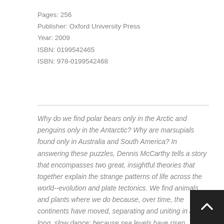Pages: 256
Publisher: Oxford University Press
Year: 2009
ISBN: 0199542465
ISBN: 978-0199542468
Why do we find polar bears only in the Arctic and penguins only in the Antarctic? Why are marsupials found only in Australia and South America? In answering these puzzles, Dennis McCarthy tells a story that encompasses two great, insightful theories that together explain the strange patterns of life across the world--evolution and plate tectonics. We find animals and plants where we do because, over time, the continents have moved, separating and uniting in a long, slow dance; because sea levels have risen, cutting off one bit of land from another; because new and barren volcanic islands have risen up from the sea; and because animals and plants vary greatly in their ability to travel, and separation causes the